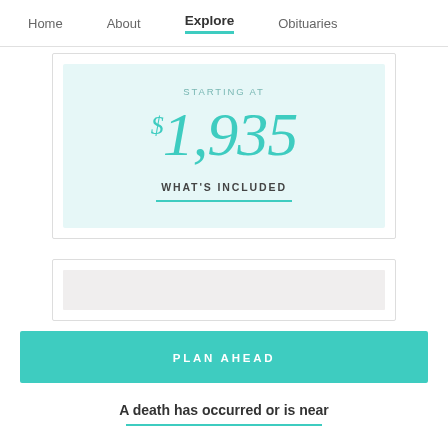Home  About  Explore  Obituaries
STARTING AT
$1,935
WHAT'S INCLUDED
PLAN AHEAD
A death has occurred or is near